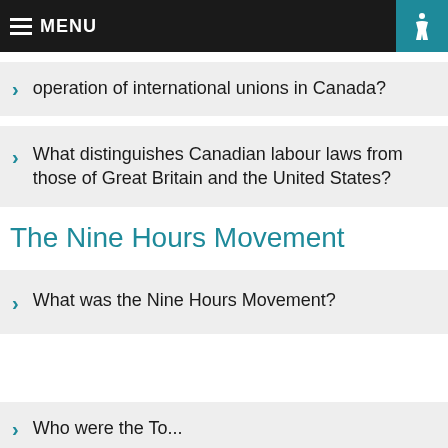MENU
operation of international unions in Canada?
What distinguishes Canadian labour laws from those of Great Britain and the United States?
The Nine Hours Movement
What was the Nine Hours Movement?
Who were the Toronto...